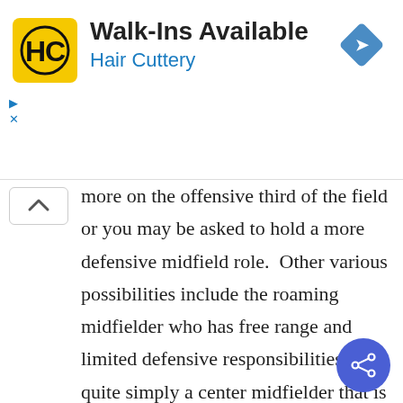[Figure (infographic): Hair Cuttery advertisement banner showing logo (HC in yellow square), 'Walk-Ins Available' heading, 'Hair Cuttery' subtitle in blue, and a blue navigation arrow icon on the right]
more on the offensive third of the field or you may be asked to hold a more defensive midfield role.  Other various possibilities include the roaming midfielder who has free range and limited defensive responsibilities or quite simply a center midfielder that is simply holding.  Your role could change depending on the opposing team you play or the formation for that particular.  Nevertheless it is important to understand the different